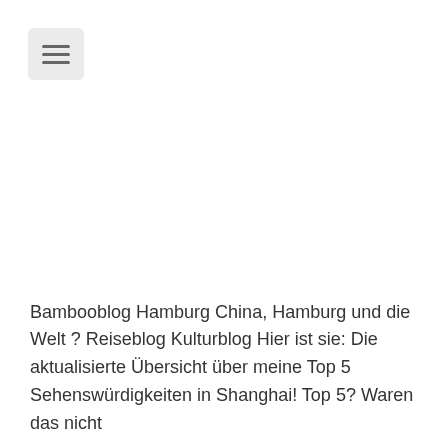[Figure (other): Hamburger menu button icon with three horizontal lines on a light grey rounded rectangle background]
Bambooblog Hamburg China, Hamburg und die Welt ? Reiseblog Kulturblog Hier ist sie: Die aktualisierte Übersicht über meine Top 5 Sehenswürdigkeiten in Shanghai! Top 5? Waren das nicht